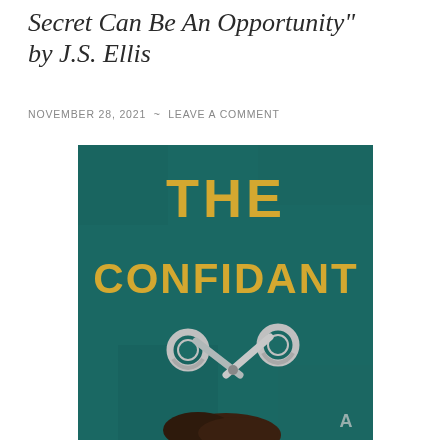Secret Can Be An Opportunity" by J.S. Ellis
NOVEMBER 28, 2021 ~ LEAVE A COMMENT
[Figure (illustration): Book cover of 'The Confidant' by J.S. Ellis. Dark teal/green background with bold gold text reading THE CONFIDANT. Below the text are silver scissors and the top of a woman's head with dark hair.]